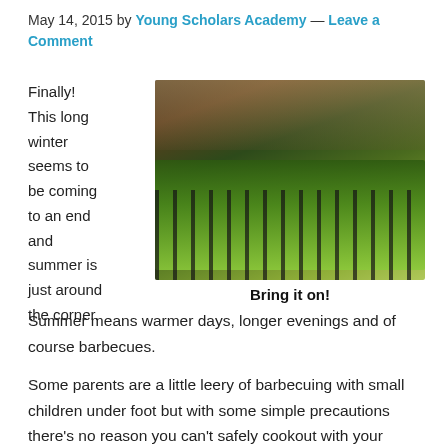May 14, 2015 by Young Scholars Academy — Leave a Comment
Finally! This long winter seems to be coming to an end and summer is just around the corner.
[Figure (photo): Close-up photo of asparagus and meat grilling on a barbecue grill with smoke in the background]
Bring it on!
Summer means warmer days, longer evenings and of course barbecues.
Some parents are a little leery of barbecuing with small children under foot but with some simple precautions there's no reason you can't safely cookout with your children.